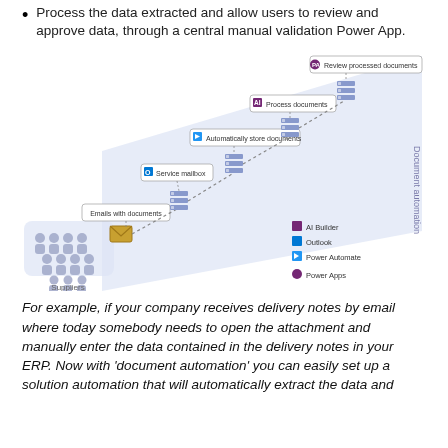Process the data extracted and allow users to review and approve data, through a central manual validation Power App.
[Figure (flowchart): Document automation flowchart showing: Suppliers group icon → email with documents label → envelope icon → Service mailbox (Outlook) → Automatically store documents (Power Automate) → Process documents (AI Builder) → Review processed documents (Power Apps). All pipeline steps connected by dashed lines within a 'Document automation' shaded band. Legend: AI Builder (purple), Outlook (blue), Power Automate (blue arrow), Power Apps (pink).]
For example, if your company receives delivery notes by email where today somebody needs to open the attachment and manually enter the data contained in the delivery notes in your ERP. Now with 'document automation' you can easily set up a solution automation that will automatically extract the data and...